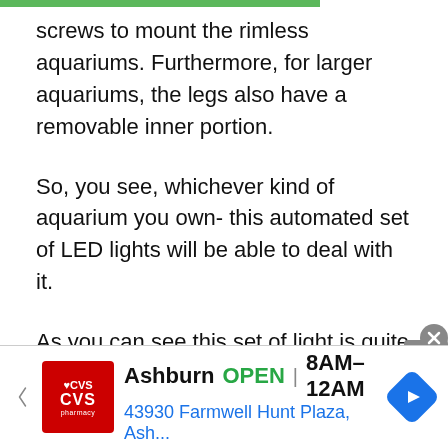screws to mount the rimless aquariums. Furthermore, for larger aquariums, the legs also have a removable inner portion.
So, you see, whichever kind of aquarium you own- this automated set of LED lights will be able to deal with it.
As you can see this set of light is quite customizable. You can fit it in almost any kind of aquarium. Furthermore, you can also control the transitions of the light. The remote is very easy to use as long as you get the connection with the
[Figure (other): CVS Pharmacy advertisement banner showing store location in Ashburn, open 8AM-12AM, address 43930 Farmwell Hunt Plaza, Ash...]